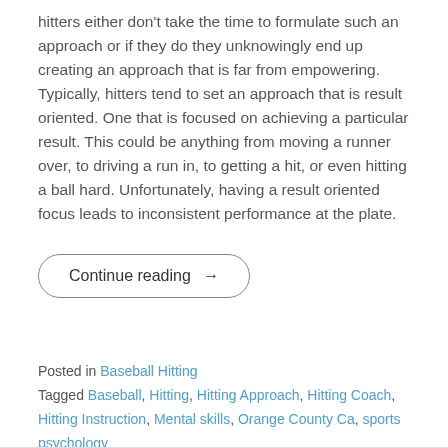hitters either don't take the time to formulate such an approach or if they do they unknowingly end up creating an approach that is far from empowering. Typically, hitters tend to set an approach that is result oriented. One that is focused on achieving a particular result. This could be anything from moving a runner over, to driving a run in, to getting a hit, or even hitting a ball hard. Unfortunately, having a result oriented focus leads to inconsistent performance at the plate.
Continue reading →
Posted in Baseball Hitting
Tagged Baseball, Hitting, Hitting Approach, Hitting Coach, Hitting Instruction, Mental skills, Orange County Ca, sports psychology